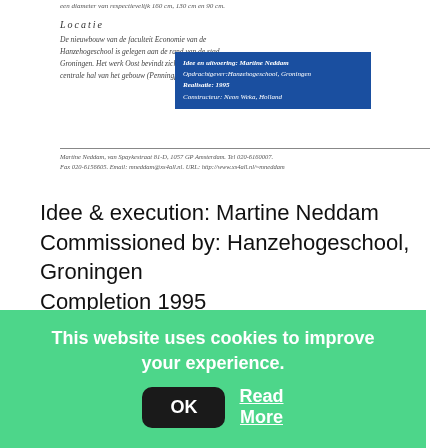een diameter van respectievelijk 160 cm, 130 cm en 90 cm.
Locatie
De nieuwbouw van de faculteit Economie van de Hanzehogeschool is gelegen aan de rand van de stad Groningen. Het werk Oost bevindt zich in de centrale hal van het gebouw (Penningplek).
Idee en uitvoering: Martine Neddam Opdrachtgever:Hanzehogeschool, Groningen Realisatie: 1995 Constructeur: Neon Weka, Holland
Martine Neddam, van Spaykestraat 81-D, 1057 GP Amsterdam. Tel 020-6160007. Fax 020-6156605. Email: mneddam@xs4all.nl. URL: http://www.xs4all.nl/~mneddam
Idee & execution: Martine Neddam
Commissioned by: Hanzehogeschool, Groningen
Completion 1995
Construction:  Neon Weka , Holland
This website uses cookies to improve your experience.
OK
Read More
Martine Neddam · Privacy Policy · Handmade with WordPress